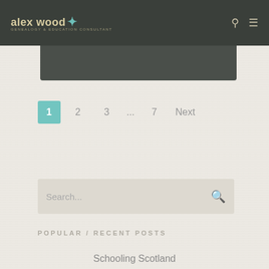alex wood - Genealogy & Education Consultant
[Figure (other): Dark rounded bar below header navigation]
1  2  3  ...  7  Next
Search...
POPULAR / RECENT POSTS
Schooling Scotland